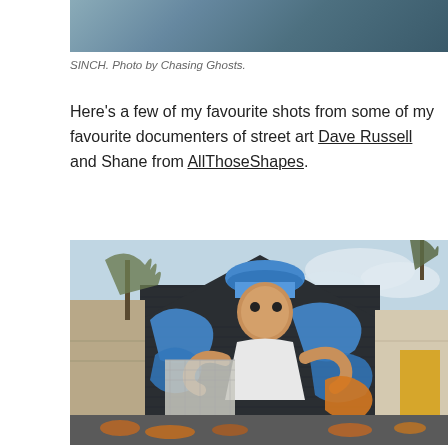[Figure (photo): Top portion of a photograph, partially cropped, showing a dark sky or background scene]
SINCH. Photo by Chasing Ghosts.
Here's a few of my favourite shots from some of my favourite documenters of street art Dave Russell and Shane from AllThoseShapes.
[Figure (photo): A large street art mural painted on a dark brick building showing a cartoon character wearing a blue cap and holding a spray can, surrounded by blue and orange graffiti lettering. Autumn leaves on the ground, buildings visible on either side.]